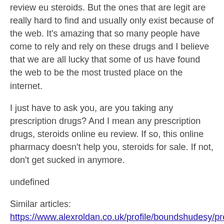review eu steroids. But the ones that are legit are really hard to find and usually only exist because of the web. It's amazing that so many people have come to rely and rely on these drugs and I believe that we are all lucky that some of us have found the web to be the most trusted place on the internet.
I just have to ask you, are you taking any prescription drugs? And I mean any prescription drugs, steroids online eu review. If so, this online pharmacy doesn't help you, steroids for sale. If not, don't get sucked in anymore.
undefined
Similar articles:
https://www.alexroldan.co.uk/profile/boundshudesy/profile
https://www.cassandrascross.org/profile/clea